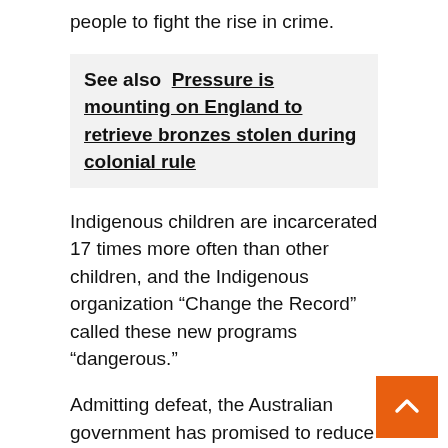people to fight the rise in crime.
See also  Pressure is mounting on England to retrieve bronzes stolen during colonial rule
Indigenous children are incarcerated 17 times more often than other children, and the Indigenous organization “Change the Record” called these new programs “dangerous.”
Admitting defeat, the Australian government has promised to reduce the prison rate for aborigines to 15% and the youth detention rate to 30% by 2031.
Indigenous Affairs Minister Ken Wyatt, the first indigenous member of a government, called on “governments at all levels” to work together to reduce